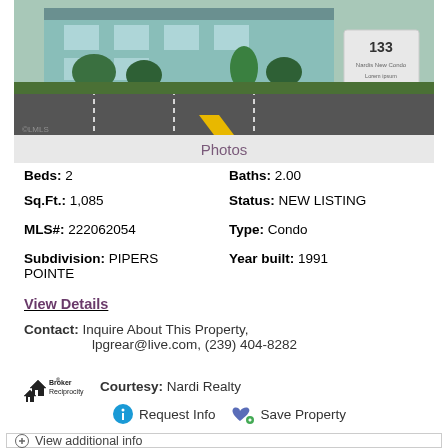[Figure (photo): Exterior photo of a light blue/teal condominium building with parking lot, palm trees, and a property sign showing 133]
Photos
Beds: 2   Baths: 2.00
Sq.Ft.: 1,085   Status: NEW LISTING
MLS#: 222062054   Type: Condo
Subdivision: PIPERS POINTE   Year built: 1991
View Details
Contact: Inquire About This Property, lpgrear@live.com, (239) 404-8282
[Figure (logo): Broker Reciprocity logo with house icon]
Courtesy: Nardi Realty
Request Info   Save Property
View additional info